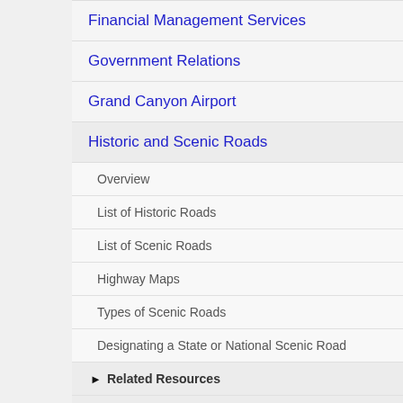Financial Management Services
Government Relations
Grand Canyon Airport
Historic and Scenic Roads
Overview
List of Historic Roads
List of Scenic Roads
Highway Maps
Types of Scenic Roads
Designating a State or National Scenic Road
Related Resources
FAQ
Links
Glossary of Terms